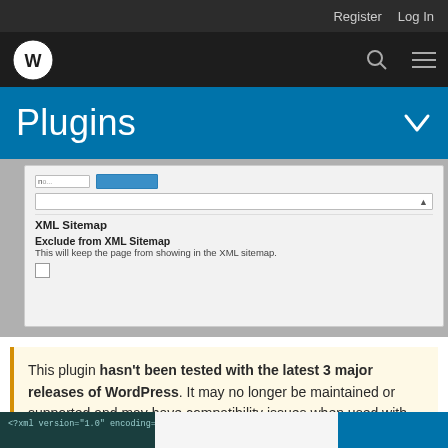Register  Log In
[Figure (screenshot): WordPress logo bar with search and menu icons]
Plugins
[Figure (screenshot): Screenshot of WordPress plugin settings panel showing XML Sitemap section with 'Exclude from XML Sitemap' option and checkbox]
This plugin hasn't been tested with the latest 3 major releases of WordPress. It may no longer be maintained or supported and may have compatibility issues when used with more recent versions of WordPress.
[Figure (screenshot): Bottom strip showing XML code snippet and a blue button]